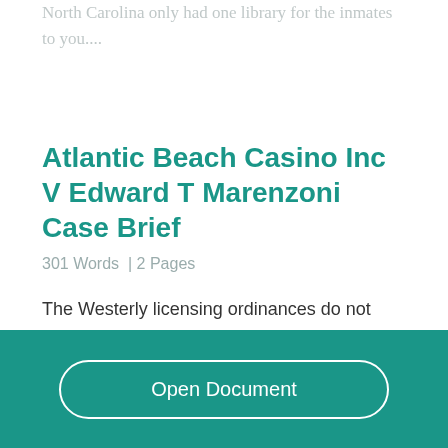North Carolina only had one library for the inmates to you....
Atlantic Beach Casino Inc V Edward T Marenzoni Case Brief
301 Words  | 2 Pages
The Westerly licensing ordinances do not even approach the necessary level of specificity constitutionally mandated, and the plaintiffs have a
Open Document